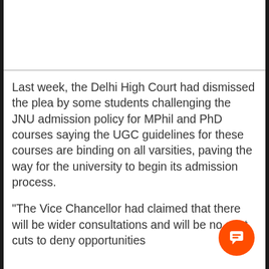[Figure (other): Image placeholder area at top of article card]
Last week, the Delhi High Court had dismissed the plea by some students challenging the JNU admission policy for MPhil and PhD courses saying the UGC guidelines for these courses are binding on all varsities, paving the way for the university to begin its admission process.
"The Vice Chancellor had claimed that there will be wider consultations and will be no seat cuts to deny opportunities